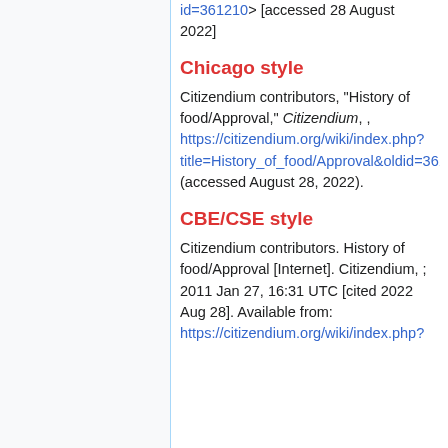id=361210> [accessed 28 August 2022]
Chicago style
Citizendium contributors, "History of food/Approval," Citizendium, , https://citizendium.org/wiki/index.php?title=History_of_food/Approval&oldid=361210 (accessed August 28, 2022).
CBE/CSE style
Citizendium contributors. History of food/Approval [Internet]. Citizendium, ; 2011 Jan 27, 16:31 UTC [cited 2022 Aug 28]. Available from: https://citizendium.org/wiki/index.php?